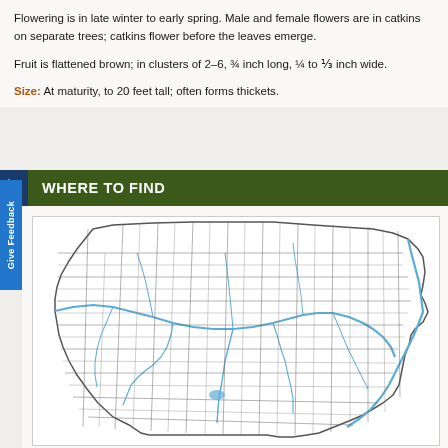Flowering is in late winter to early spring. Male and female flowers are in catkins on separate trees; catkins flower before the leaves emerge.
Fruit is flattened brown; in clusters of 2–6, ¾ inch long, ¼ to ⅓ inch wide.
Size: At maturity, to 20 feet tall; often forms thickets.
WHERE TO FIND
[Figure (map): County distribution map of Missouri showing river systems including the Missouri River and Mississippi River, with county grid lines. A small reservoir or lake is visible in the southern-central region.]